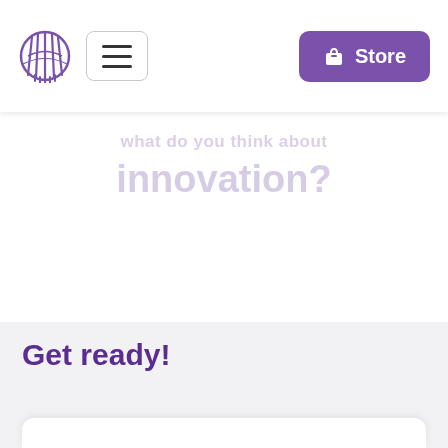[Figure (logo): Circular purple globe/grid logo icon]
[Figure (other): Hamburger menu button with three horizontal lines]
Store
innovation?
Get ready!